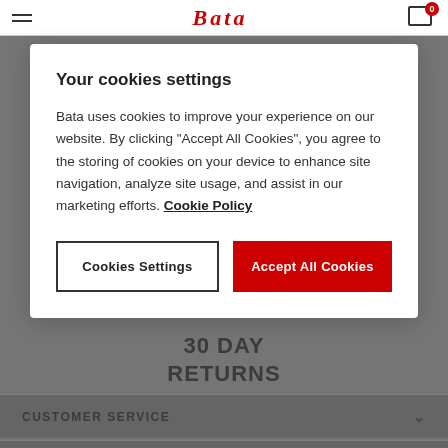Bata — Navigation bar with hamburger menu, logo, and cart (0 items)
Your cookies settings
Bata uses cookies to improve your experience on our website. By clicking "Accept All Cookies", you agree to the storing of cookies on your device to enhance site navigation, analyze site usage, and assist in our marketing efforts. Cookie Policy
Cookies Settings | Accept All Cookies
30 DAY RETURNS
CUSTOMER SERVICE
SHOPPING GUIDE